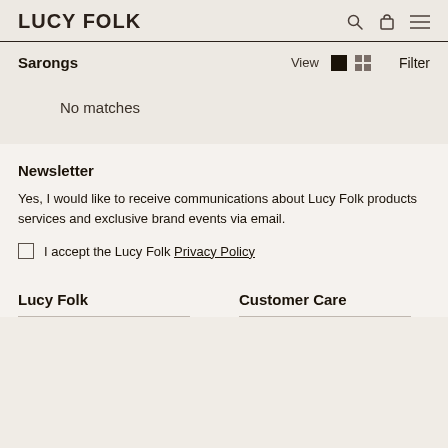LUCY FOLK
Sarongs
No matches
Newsletter
Yes, I would like to receive communications about Lucy Folk products services and exclusive brand events via email.
I accept the Lucy Folk Privacy Policy
Lucy Folk
Customer Care